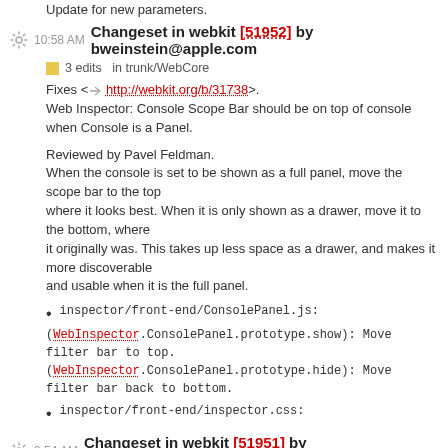Update for new parameters.
10:58 AM Changeset in webkit [51952] by bweinstein@apple.com
3 edits in trunk/WebCore
Fixes <=> http://webkit.org/b/31738>. Web Inspector: Console Scope Bar should be on top of console when Console is a Panel.
Reviewed by Pavel Feldman. When the console is set to be shown as a full panel, move the scope bar to the top where it looks best. When it is only shown as a drawer, move it to the bottom, where it originally was. This takes up less space as a drawer, and makes it more discoverable and usable when it is the full panel.
inspector/front-end/ConsolePanel.js:
(WebInspector.ConsolePanel.prototype.show): Move filter bar to top.
(WebInspector.ConsolePanel.prototype.hide): Move filter bar back to bottom.
inspector/front-end/inspector.css:
9:54 AM Changeset in webkit [51951] by abarth@webkit.org
1 edit  3 adds  in trunk/LayoutTests